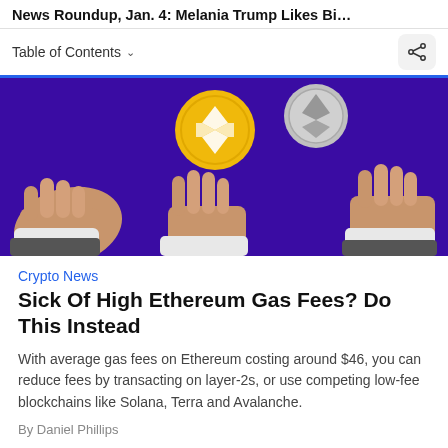News Roundup, Jan. 4: Melania Trump Likes Bitc...
Table of Contents ▾
[Figure (illustration): 3D illustration on purple background showing three cartoon hands reaching toward floating cryptocurrency coins: a gold Binance (BNB) coin and a silver Ethereum coin]
Crypto News
Sick Of High Ethereum Gas Fees? Do This Instead
With average gas fees on Ethereum costing around $46, you can reduce fees by transacting on layer-2s, or use competing low-fee blockchains like Solana, Terra and Avalanche.
By Daniel Phillips